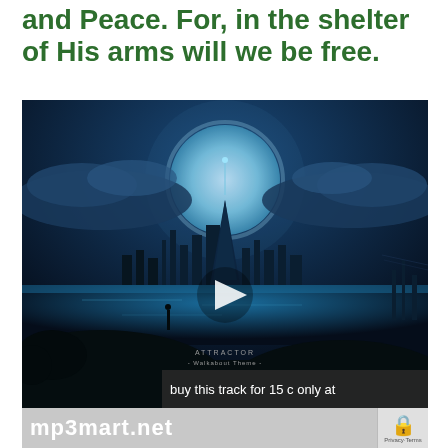and Peace. For, in the shelter of His arms will we be free.
[Figure (screenshot): Video thumbnail showing a fantasy night cityscape with a glowing blue moon and futuristic city reflected on water. A white play button triangle is centered on the video. At the bottom is an overlay bar reading 'buy this track for 15 c only at mp3mart.net'. A CAPTCHA icon appears in the bottom right corner.]